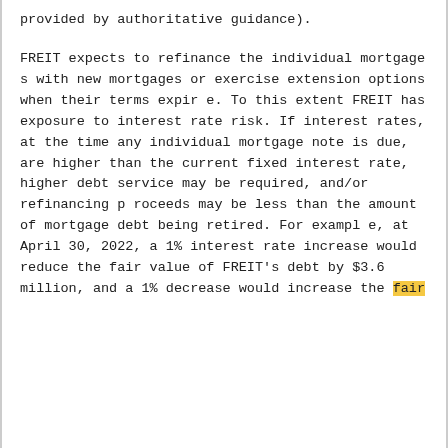provided by authoritative guidance).
FREIT expects to refinance the individual mortgages with new mortgages or exercise extension options when their terms expire. To this extent FREIT has exposure to interest rate risk. If interest rates, at the time any individual mortgage note is due, are higher than the current fixed interest rate, higher debt service may be required, and/or refinancing proceeds may be less than the amount of mortgage debt being retired. For example, at April 30, 2022, a 1% interest rate increase would reduce the fair value of FREIT's debt by $3.6 million, and a 1% decrease would increase the fair